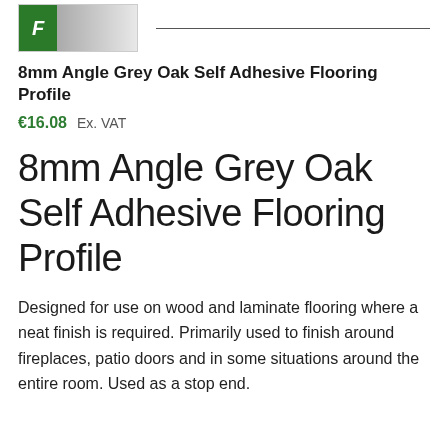[Figure (logo): Company logo with green F badge and grey gradient bar, with a horizontal line divider]
8mm Angle Grey Oak Self Adhesive Flooring Profile
€16.08  Ex. VAT
8mm Angle Grey Oak Self Adhesive Flooring Profile
Designed for use on wood and laminate flooring where a neat finish is required. Primarily used to finish around fireplaces, patio doors and in some situations around the entire room. Used as a stop end.